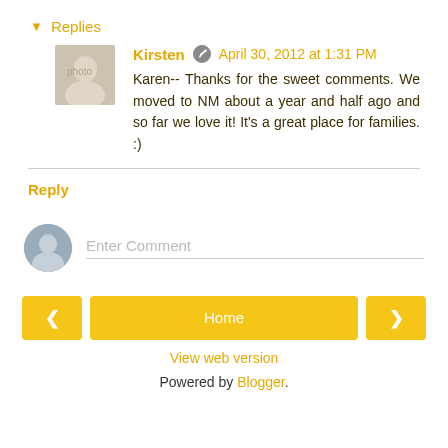▾ Replies
Kirsten  April 30, 2012 at 1:31 PM
Karen-- Thanks for the sweet comments. We moved to NM about a year and half ago and so far we love it! It's a great place for families. :)
Reply
Enter Comment
Home
View web version
Powered by Blogger.